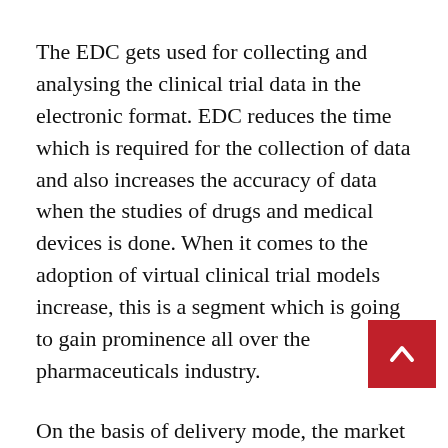The EDC gets used for collecting and analysing the clinical trial data in the electronic format. EDC reduces the time which is required for the collection of data and also increases the accuracy of data when the studies of drugs and medical devices is done. When it comes to the adoption of virtual clinical trial models increase, this is a segment which is going to gain prominence all over the pharmaceuticals industry.
On the basis of delivery mode, the market has been divided into the cloud-based (SAAS) solutions licensed enterprise (on-premises) solutions, along with the web-hosted (on-demand) solutions. The dominance as per this segmentation has been shown by the web-hosted (on-demand) solutions is also going to show the greatest growth in the